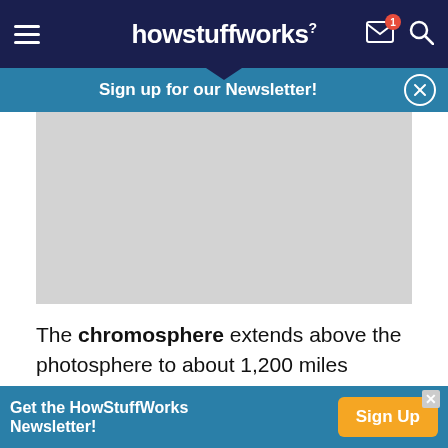howstuffworks
Sign up for our Newsletter!
[Figure (other): Gray advertisement placeholder rectangle]
The chromosphere extends above the photosphere to about 1,200 miles (2,000 kilometers). The temperature rises across the chromosphere from 4,500 degrees Kelvin to about 10,000 degrees
Get the HowStuffWorks Newsletter! Sign Up